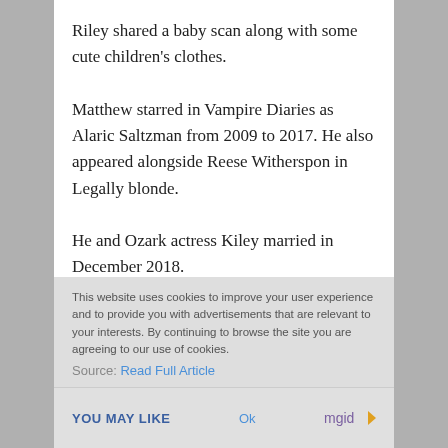Riley shared a baby scan along with some cute children's clothes.
Matthew starred in Vampire Diaries as Alaric Saltzman from 2009 to 2017. He also appeared alongside Reese Witherspon in Legally blonde.
He and Ozark actress Kiley married in December 2018.
This website uses cookies to improve your user experience and to provide you with advertisements that are relevant to your interests. By continuing to browse the site you are agreeing to our use of cookies.
Source: Read Full Article
YOU MAY LIKE   Ok   mgid